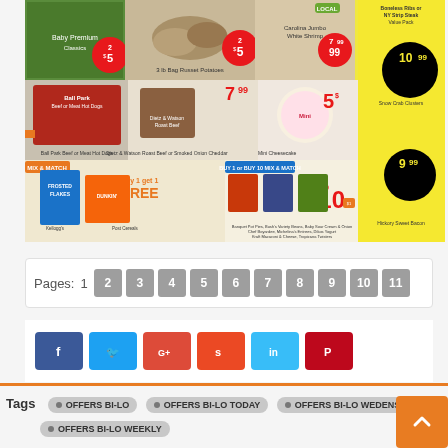[Figure (photo): Grocery store flyer/advertisement showing various food products with prices: vegetables, potatoes, shrimp, hot dogs, roast beef, cheesecake, seafood, cereal, canned goods, and bacon with prices like 2/$5, $7.99, $5, buy 1 get 1 free, 10/$10, $10.99, $9.99]
Pages: 1 2 3 4 5 6 7 8 9 10 11
[Figure (infographic): Social sharing buttons: Facebook, Twitter, Google+, StumbleUpon, LinkedIn, Pinterest]
Tags  OFFERS BI-LO  OFFERS BI-LO TODAY  OFFERS BI-LO WEDENSDAY  OFFERS BI-LO WEEKLY